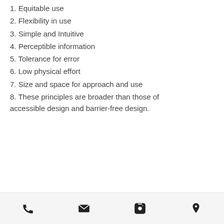1.  Equitable use
2.  Flexibility in use
3.  Simple and Intuitive
4.  Perceptible information
5.  Tolerance for error
6.  Low physical effort
7.  Size and space for approach and use
8.  These principles are broader than those of accessible design and barrier-free design.
© 2022 Created by Adaptable Homes.
Powered by CIS AGENCY.
Cookies Policy
Copyright
Terms of Use